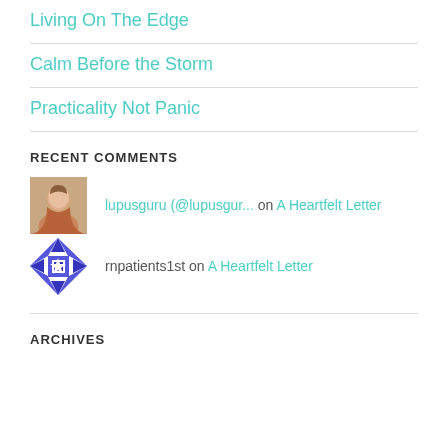Living On The Edge
Calm Before the Storm
Practicality Not Panic
RECENT COMMENTS
lupusguru (@lupusgur... on A Heartfelt Letter
rnpatients1st on A Heartfelt Letter
ARCHIVES